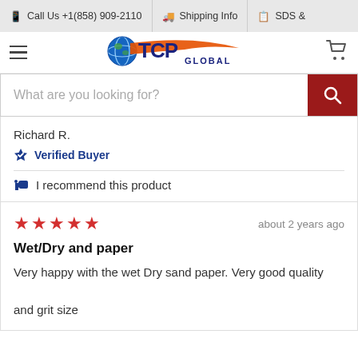📱 Call Us +1(858) 909-2110  🚚 Shipping Info  📋 SDS &
[Figure (logo): TCP Global logo with globe icon, orange swoosh, and blue bold text reading TCP GLOBAL]
What are you looking for?
Richard R.
Verified Buyer
I recommend this product
about 2 years ago
Wet/Dry and paper
Very happy with the wet Dry sand paper. Very good quality and grit size